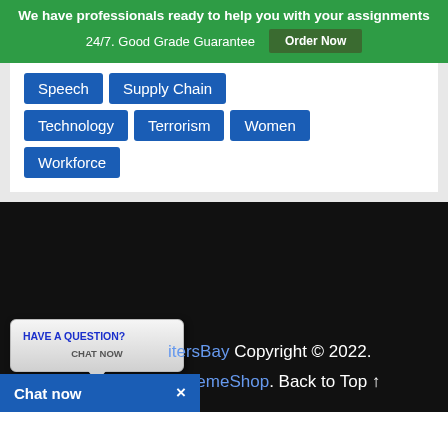We have professionals ready to help you with your assignments 24/7. Good Grade Guarantee
Order Now
Speech
Supply Chain
Technology
Terrorism
Women
Workforce
HAVE A QUESTION? CHAT NOW
itersBay Copyright © 2022.
yThemeShop. Back to Top ↑
Chat now ×